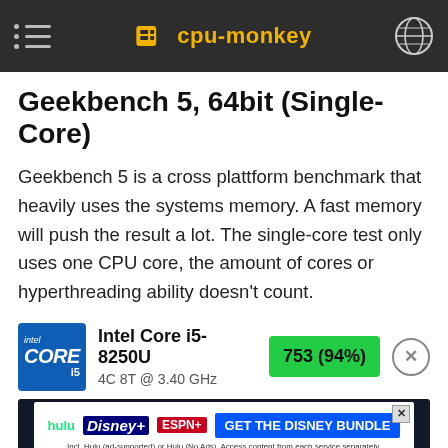cpu-monkey
Geekbench 5, 64bit (Single-Core)
Geekbench 5 is a cross plattform benchmark that heavily uses the systems memory. A fast memory will push the result a lot. The single-core test only uses one CPU core, the amount of cores or hyperthreading ability doesn't count.
Intel Core i5-8250U
4C 8T @ 3.40 GHz
753 (94%)
[Figure (screenshot): Disney Bundle advertisement banner with Hulu, Disney+, ESPN+ logos and GET THE DISNEY BUNDLE call to action]